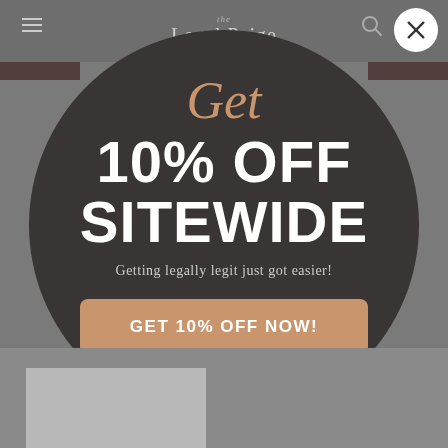[Figure (screenshot): The Legal Paige website navigation bar with hamburger menu, logo, search icon, and close (X) button]
[Figure (infographic): Dark circular popup modal on gray background offering 10% off sitewide discount with a tan CTA button reading GET 10% OFF NOW! and script text 'Get' above '10% OFF SITEWIDE' and tagline 'Getting legally legit just got easier!']